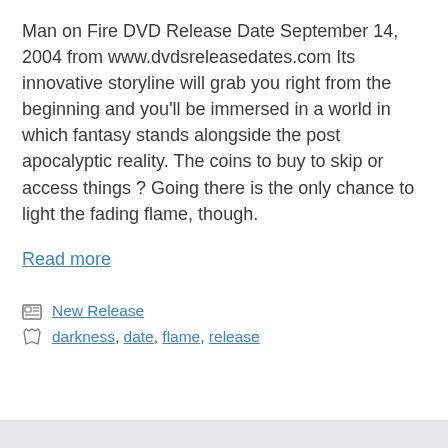Man on Fire DVD Release Date September 14, 2004 from www.dvdsreleasedates.com Its innovative storyline will grab you right from the beginning and you'll be immersed in a world in which fantasy stands alongside the post apocalyptic reality. The coins to buy to skip or access things ? Going there is the only chance to light the fading flame, though.
Read more
New Release
darkness, date, flame, release